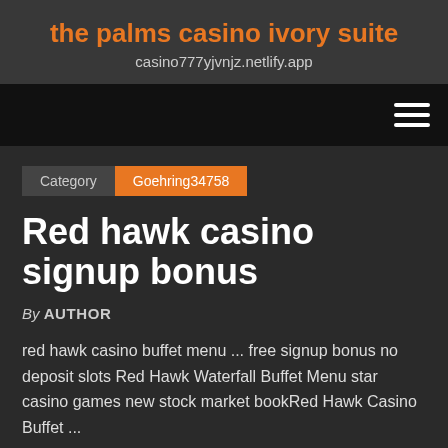the palms casino ivory suite
casino777yjvnjz.netlify.app
[Figure (other): Navigation bar with hamburger menu icon (three horizontal lines) on right side, black background]
Category  Goehring34758
Red hawk casino signup bonus
By AUTHOR
red hawk casino buffet menu ... free signup bonus no deposit slots Red Hawk Waterfall Buffet Menu star casino games new stock market bookRed Hawk Casino Buffet ...